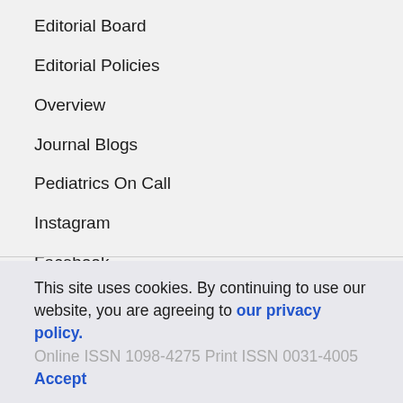Editorial Board
Editorial Policies
Overview
Journal Blogs
Pediatrics On Call
Instagram
Facebook
Twitter
YouTube
RSS/Feeds
This site uses cookies. By continuing to use our website, you are agreeing to our privacy policy. Accept
Online ISSN 1098-4275 Print ISSN 0031-4005